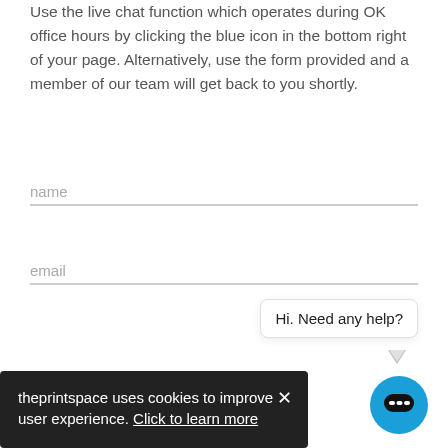Use the live chat function which operates during OK office hours by clicking the blue icon in the bottom right of your page. Alternatively, use the form provided and a member of our team will get back to you shortly.
name
email
[Figure (screenshot): Cookie consent banner (dark background) with text: 'theprintspace uses cookies to improve user experience. Click to learn more' and a close (X) button.]
[Figure (screenshot): Live chat widget showing speech bubble with 'Hi. Need any help?' and a blue circular chat button icon.]